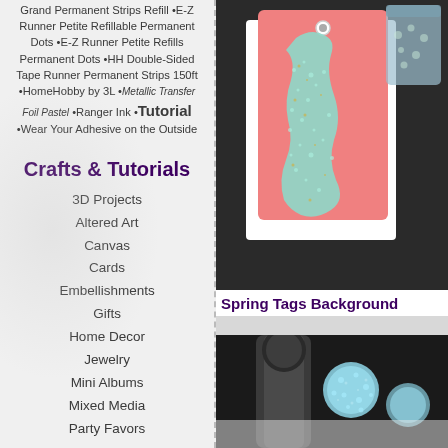Grand Permanent Strips Refill •E-Z Runner Petite Refillable Permanent Dots •E-Z Runner Petite Refills Permanent Dots •HH Double-Sided Tape Runner Permanent Strips 150ft •HomeHobby by 3L •Metallic Transfer Foil Pastel •Ranger Ink •Tutorial •Wear Your Adhesive on the Outside
Crafts & Tutorials
3D Projects
Altered Art
Canvas
Cards
Embellishments
Gifts
Home Decor
Jewelry
Mini Albums
Mixed Media
Party Favors
[Figure (photo): Photo of a pink gift tag card decorated with teal/mint glitter in an irregular splatter pattern, with a gem brad at top, alongside a glass jar with craft supplies in the background]
Spring Tags Background
[Figure (photo): Partial photo showing dark craft tool (ink blending tool or similar) with light blue/teal glitter balls or pearls on a white surface]